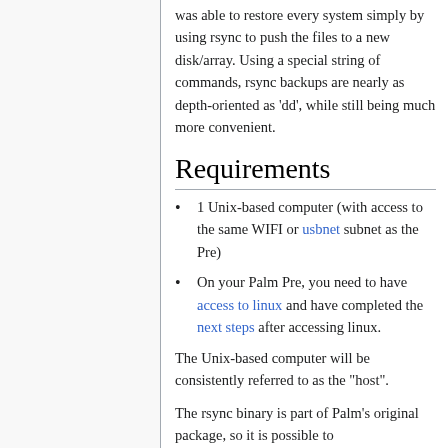was able to restore every system simply by using rsync to push the files to a new disk/array. Using a special string of commands, rsync backups are nearly as depth-oriented as 'dd', while still being much more convenient.
Requirements
1 Unix-based computer (with access to the same WIFI or usbnet subnet as the Pre)
On your Palm Pre, you need to have access to linux and have completed the next steps after accessing linux.
The Unix-based computer will be consistently referred to as the "host".
The rsync binary is part of Palm's original package, so it is possible to